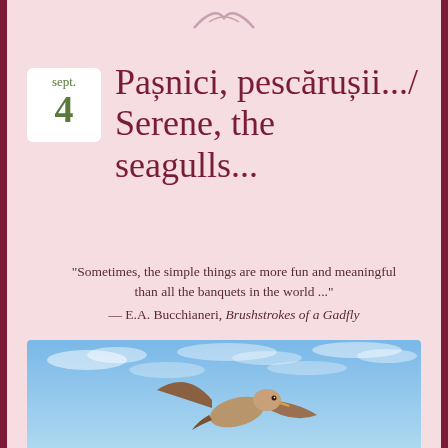[Figure (illustration): Decorative bird silhouette at top of page]
Pașnici, pescărușii.../ Serene, the seagulls...
“Sometimes, the simple things are more fun and meaningful than all the banquets in the world ...” — E.A. Bucchianeri, Brushstrokes of a Gadfly
[Figure (photo): A seagull in flight against a blue cloudy sky]